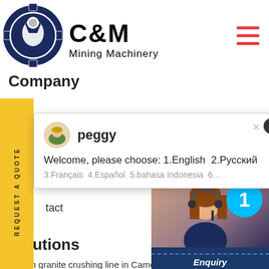[Figure (logo): C&M Mining Machinery logo with eagle gear icon in dark blue]
[Figure (other): Hamburger menu icon in red/orange lines on right side of header]
Company
[Figure (other): Yellow REQUEST A QUOTE sidebar button on left]
ne
[Figure (screenshot): Chat popup with agent peggy. Welcome, please choose: 1.English 2.Русский 3.Français 4.Español 5.bahasa Indonesia 6...]
Projects
tact
[Figure (photo): Customer service representative with headset, smiling, with blue badge showing number 1 and Click to Chat button]
Solutions
200tph granite crushing line in Camero
Enquiry